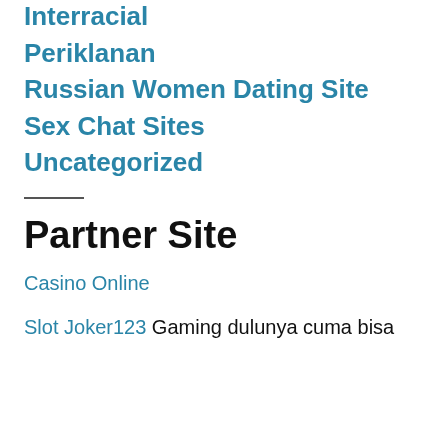Interracial
Periklanan
Russian Women Dating Site
Sex Chat Sites
Uncategorized
Partner Site
Casino Online
Slot Joker123 Gaming dulunya cuma bisa